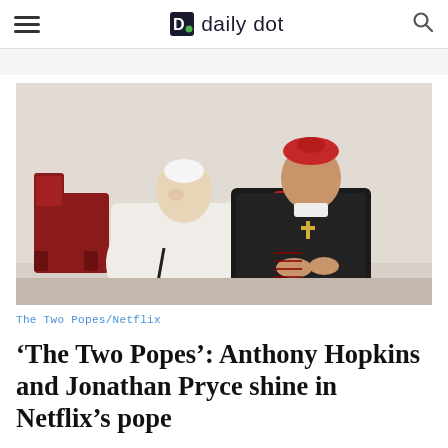daily dot
[Figure (photo): Two elderly men in religious garb seated side by side — one in white papal robes leaning to whisper to the other dressed in black cardinal robes with a red hat and sash, seated on a red ornate chair against a cream wall. Scene from The Two Popes Netflix film.]
The Two Popes/Netflix
'The Two Popes': Anthony Hopkins and Jonathan Pryce shine in Netflix's pope